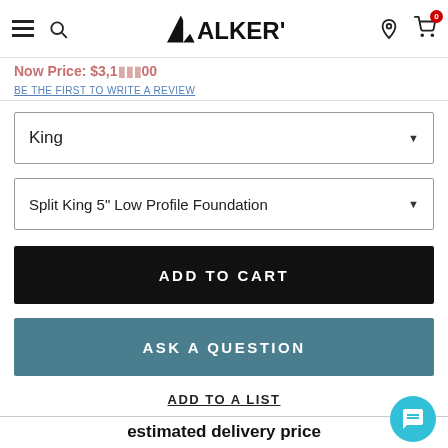[Figure (screenshot): Walker's furniture store navigation bar with hamburger menu, search icon, Walker's logo, location pin icon, and shopping cart icon with 0 badge]
Now Price: $3,1[...]00
BE THE FIRST TO WRITE A REVIEW
King
Split King 5" Low Profile Foundation
ADD TO CART
ASK A QUESTION
ADD TO A LIST
estimated delivery price